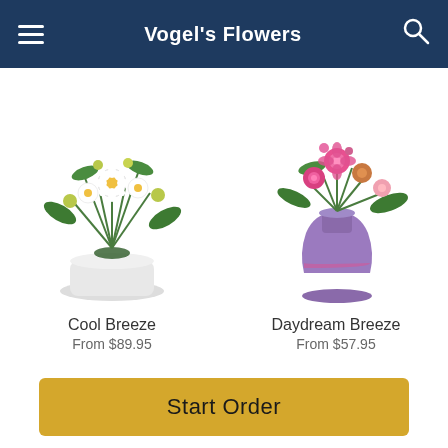Vogel's Flowers
FREE* Next Day Delivery ends in: 33:39:21
[Figure (photo): Cool Breeze floral arrangement in white pot with white flowers and greenery]
Cool Breeze
From $89.95
[Figure (photo): Daydream Breeze floral arrangement in purple vase with pink roses and mixed flowers]
Daydream Breeze
From $57.95
[Figure (logo): Powered by Lovingly logo with pink heart/ribbon icon]
Start Order